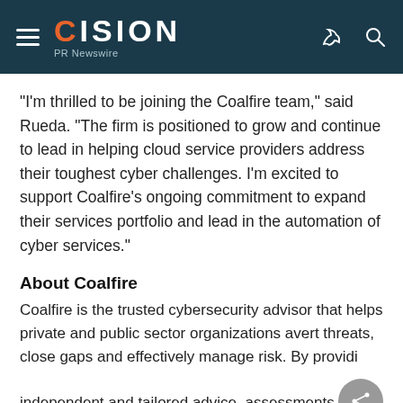CISION PR Newswire
"I'm thrilled to be joining the Coalfire team," said Rueda. "The firm is positioned to grow and continue to lead in helping cloud service providers address their toughest cyber challenges.  I'm excited to support Coalfire's ongoing commitment to expand their services portfolio and lead in the automation of cyber services."
About Coalfire
Coalfire is the trusted cybersecurity advisor that helps private and public sector organizations avert threats, close gaps and effectively manage risk. By providing independent and tailored advice, assessments,